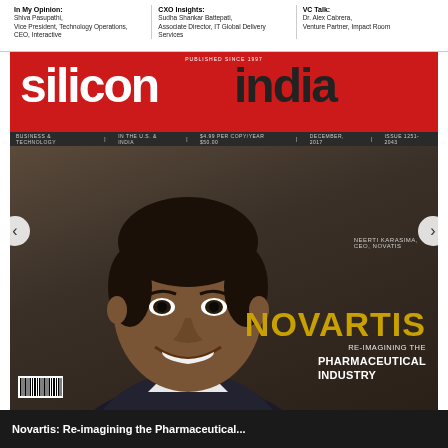In My Opinion: Shiva Pasupathi, Vice President, Technology Operations, CEO, Interactive | CXO Insights: Sudha Shankar Battepati, Associate Director, IT Global Delivery Services | VC Talk: Dr. Alex Cabrera, Venture Partner, Impact Room
[Figure (photo): Silicon India magazine cover featuring a smiling South Asian man in a suit. Red masthead with 'siliconindia' logo. Cover story about Novartis re-imagining the pharmaceutical industry. Published since 1997.]
Novartis: Re-imagining the Pharmaceutical...